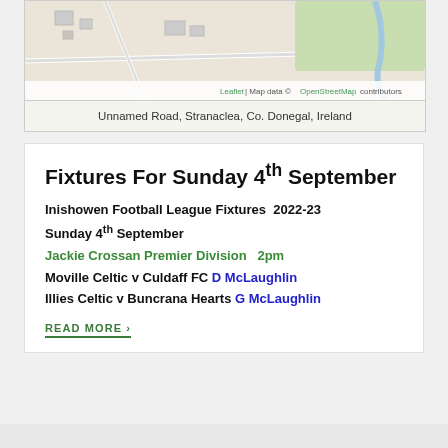[Figure (map): Map showing Unnamed Road area, Stranaclea, Co. Donegal, Ireland with OpenStreetMap tiles]
Unnamed Road, Stranaclea, Co. Donegal, Ireland
Fixtures For Sunday 4th September
Inishowen Football League Fixtures  2022-23
Sunday 4th September
Jackie Crossan Premier Division   2pm
Moville Celtic v Culdaff FC D McLaughlin
Illies Celtic v Buncrana Hearts G McLaughlin
READ MORE ›